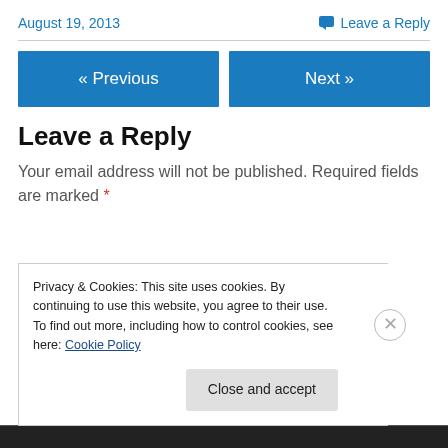August 19, 2013
Leave a Reply
« Previous
Next »
Leave a Reply
Your email address will not be published. Required fields are marked *
Privacy & Cookies: This site uses cookies. By continuing to use this website, you agree to their use.
To find out more, including how to control cookies, see here: Cookie Policy
Close and accept